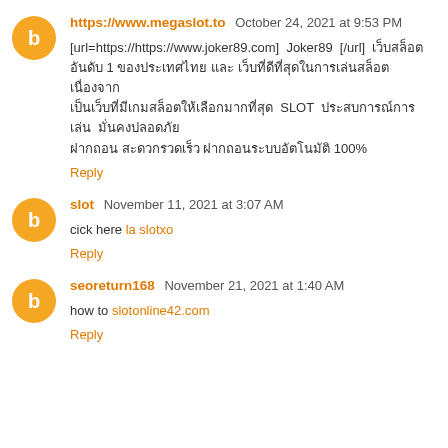https://www.megaslot.to  October 24, 2021 at 9:53 PM
[url=https://https://www.joker89.com] Joker89 [/url] เว็บสล็อตอันดับ 1 ของประเทศไทย และ เว็บที่ดีที่สุดในการเล่นสล็อต เนื่องจากเป็นเว็บที่มีเกมสล็อตให้เลือกมากที่สุด SLOT ประสบการณ์การเล่น มั่นคงปลอดภัย ฝากถอนสะดวกรวดเร็ว 100%
Reply
slot  November 11, 2021 at 3:07 AM
cick here la slotxo
Reply
seoreturn168  November 21, 2021 at 1:40 AM
how to slotonline42.com
Reply